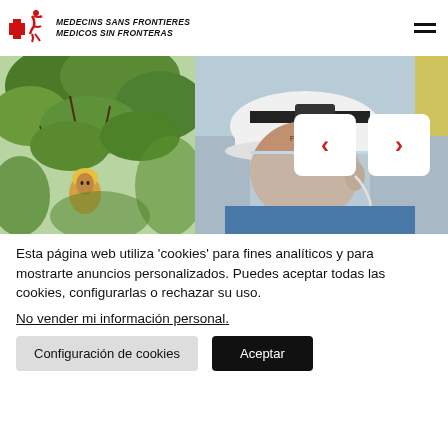[Figure (logo): Médecins Sans Frontières / Médicos Sin Fronteras logo with red cross and running figure icon, and italic bold text]
[Figure (photo): Slideshow with two photos: left shows a woman in yellow headscarf among green trees; right shows a healthcare worker wearing a white cap and face shield/mask with PPE equipment. Navigation arrows (left/right chevrons in red on white rounded rectangles) overlay the right photo.]
Esta página web utiliza 'cookies' para fines analíticos y para mostrarte anuncios personalizados. Puedes aceptar todas las cookies, configurarlas o rechazar su uso.
No vender mi información personal.
Configuración de cookies
Aceptar